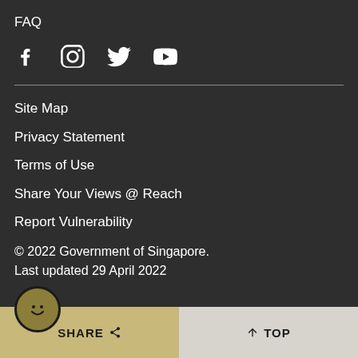FAQ
[Figure (infographic): Social media icons: Facebook, Instagram, Twitter, YouTube]
Site Map
Privacy Statement
Terms of Use
Share Your Views @ Reach
Report Vulnerability
© 2022 Government of Singapore.
Last updated 29 April 2022
SHARE  TOP